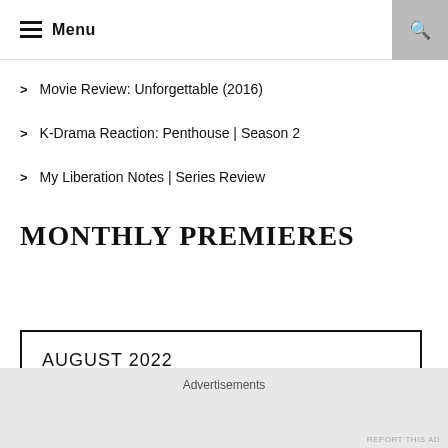Menu
Movie Review: Unforgettable (2016)
K-Drama Reaction: Penthouse | Season 2
My Liberation Notes | Series Review
MONTHLY PREMIERES
AUGUST 2022
Advertisements